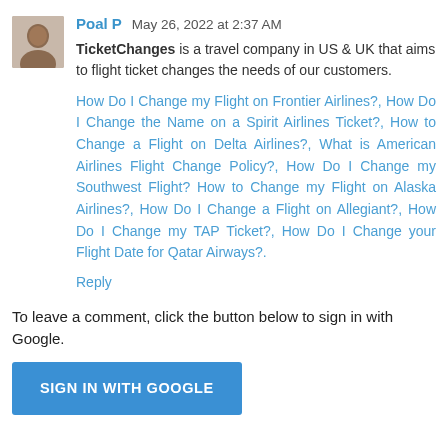Poal P  May 26, 2022 at 2:37 AM
TicketChanges is a travel company in US & UK that aims to flight ticket changes the needs of our customers.
How Do I Change my Flight on Frontier Airlines?, How Do I Change the Name on a Spirit Airlines Ticket?, How to Change a Flight on Delta Airlines?, What is American Airlines Flight Change Policy?, How Do I Change my Southwest Flight? How to Change my Flight on Alaska Airlines?, How Do I Change a Flight on Allegiant?, How Do I Change my TAP Ticket?, How Do I Change your Flight Date for Qatar Airways?.
Reply
To leave a comment, click the button below to sign in with Google.
SIGN IN WITH GOOGLE